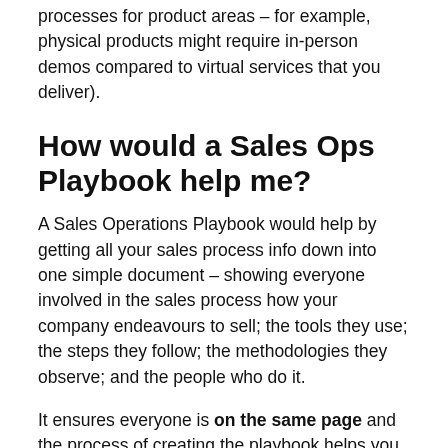processes for product areas – for example, physical products might require in-person demos compared to virtual services that you deliver).
How would a Sales Ops Playbook help me?
A Sales Operations Playbook would help by getting all your sales process info down into one simple document – showing everyone involved in the sales process how your company endeavours to sell; the tools they use; the steps they follow; the methodologies they observe; and the people who do it.
It ensures everyone is on the same page and the process of creating the playbook helps you